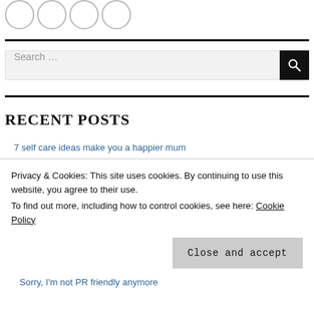[Figure (illustration): Four empty circle outlines in a row at the top of the page]
Search ...
RECENT POSTS
7 self care ideas make you a happier mum
Sorry, I'm not PR friendly anymore
Privacy & Cookies: This site uses cookies. By continuing to use this website, you agree to their use. To find out more, including how to control cookies, see here: Cookie Policy
Close and accept